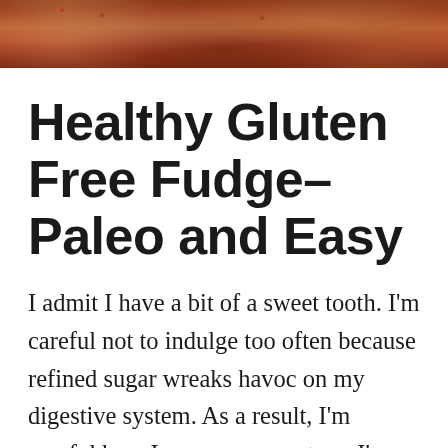[Figure (photo): Close-up photo of food — appears to be fudge or chocolate with red/brown tones, partially visible at the top of the page]
Healthy Gluten Free Fudge–Paleo and Easy
I admit I have a bit of a sweet tooth. I'm careful not to indulge too often because refined sugar wreaks havoc on my digestive system. As a result, I'm careful how I consume sweets so I'm always on the lookout for healthier versions of sweet treats. Like Healthy Gluten Free